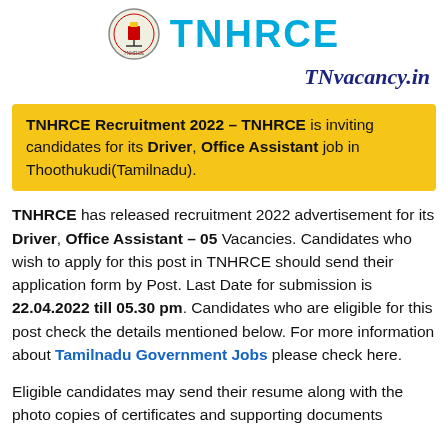[Figure (logo): TNHRCE government seal/logo emblem and organization header text]
TNvacancy.in
TNHRCE Recruitment 2022 – TNHRCE is inviting candidates for its Driver, Office Assistant job in Thoothukudi(Tamilnadu).
TNHRCE has released recruitment 2022 advertisement for its Driver, Office Assistant – 05 Vacancies. Candidates who wish to apply for this post in TNHRCE should send their application form by Post. Last Date for submission is 22.04.2022 till 05.30 pm. Candidates who are eligible for this post check the details mentioned below. For more information about Tamilnadu Government Jobs please check here.
Eligible candidates may send their resume along with the photo copies of certificates and supporting documents